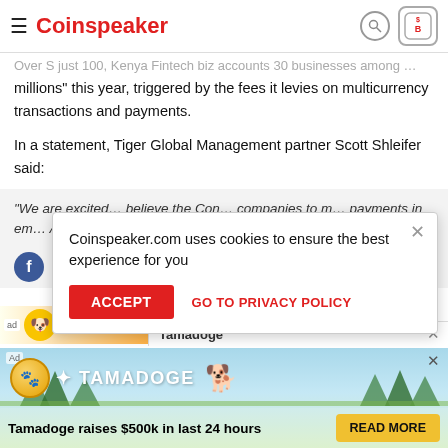Coinspeaker
millions" this year, triggered by the fees it levies on multicurrency transactions and payments.
In a statement, Tiger Global Management partner Scott Shleifer said:
"We are excited... believe the Con... companies to i... payments in em... Arik and his tea... has built."
[Figure (screenshot): Cookie consent popup: 'Coinspeaker.com uses cookies to ensure the best experience for you' with ACCEPT button and GO TO PRIVACY POLICY link]
[Figure (infographic): Tamadoge advertisement banner: 'Tamadoge raises $500k in last 24 hours' with READ MORE button]